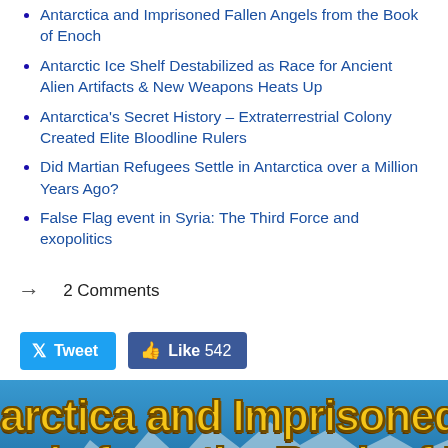Antarctica and Imprisoned Fallen Angels from the Book of Enoch
Antarctic Ice Shelf Destabilized as Race for Ancient Alien Artifacts & New Weapons Heats Up
Antarctica's Secret History – Extraterrestrial Colony Created Elite Bloodline Rulers
Did Martian Refugees Settle in Antarctica over a Million Years Ago?
False Flag event in Syria: The Third Force and exopolitics
→  2 Comments
Tweet  |  Like 542
[Figure (screenshot): Bottom banner image showing snowy Antarctic mountains with large bold yellow text reading: 'arctica and Imprisoned Fa' and 'gels from the Book of Eno' overlaid on a blue sky and mountain scene.]